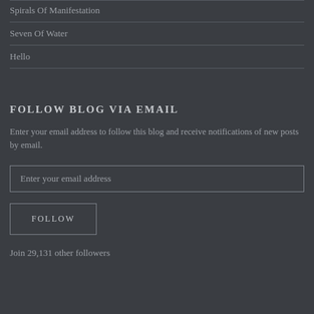Spirals Of Manifestation
Seven Of Water
Hello
FOLLOW BLOG VIA EMAIL
Enter your email address to follow this blog and receive notifications of new posts by email.
Enter your email address
FOLLOW
Join 29,131 other followers